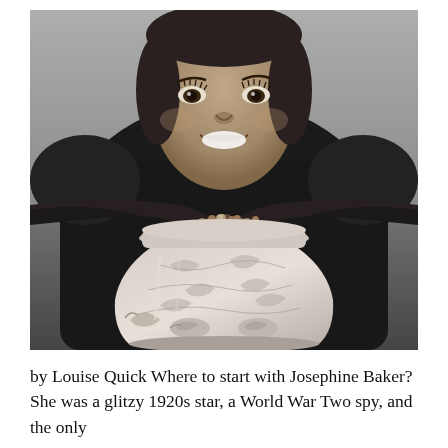[Figure (photo): Black and white photograph of a smiling woman leaning forward with her arms and hands resting on top of an ornate decorative vase or urn. The woman is wearing a dark outfit and has striking eyes with long lashes. The vase features intricate relief carvings including bird motifs.]
by Louise Quick Where to start with Josephine Baker? She was a glitzy 1920s star, a World War Two spy, and the only